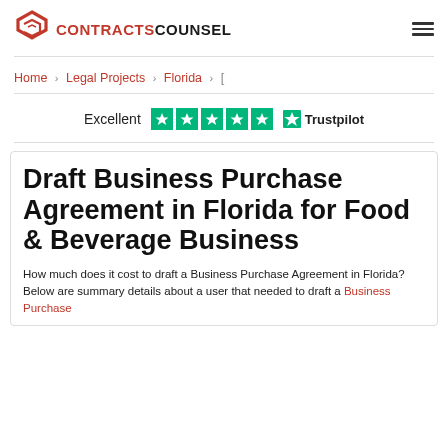CONTRACTSCOUNSEL
Home > Legal Projects > Florida > [
Excellent ★★★★★ Trustpilot
Draft Business Purchase Agreement in Florida for Food & Beverage Business
How much does it cost to draft a Business Purchase Agreement in Florida? Below are summary details about a user that needed to draft a Business Purchase